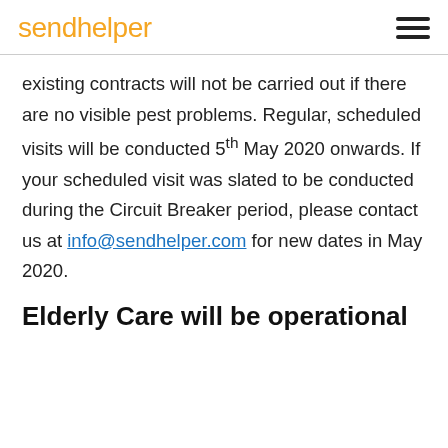sendhelper
existing contracts will not be carried out if there are no visible pest problems. Regular, scheduled visits will be conducted 5th May 2020 onwards. If your scheduled visit was slated to be conducted during the Circuit Breaker period, please contact us at info@sendhelper.com for new dates in May 2020.
Elderly Care will be operational